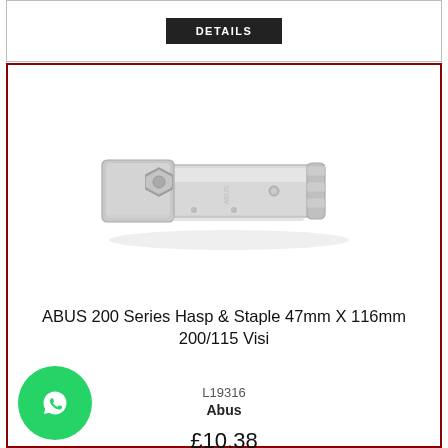[Figure (other): Dark button labeled DETAILS on a card strip at top]
[Figure (photo): ABUS 200 Series Hasp and Staple product photo — a silver/chrome metal hasp and staple lock mechanism on white background]
ABUS 200 Series Hasp & Staple 47mm X 116mm 200/115 Visi
L19316
Abus
£10.38
[Figure (logo): WhatsApp green circular icon button in bottom-left corner]